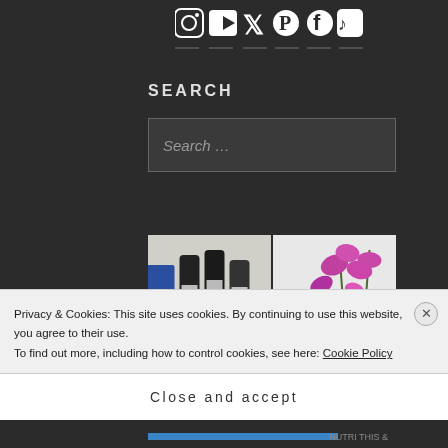[Figure (illustration): Row of social media icons: Instagram, YouTube, Twitter/X, Pinterest, Facebook, TikTok in white on dark background with horizontal divider lines below]
SEARCH
[Figure (screenshot): Search input box with placeholder text 'Search ...' on dark background]
[Figure (photo): Two thumbnail images side by side: left shows skincare product bottles and boxes, right shows pink orchid flowers on a light background]
Privacy & Cookies: This site uses cookies. By continuing to use this website, you agree to their use.
To find out more, including how to control cookies, see here: Cookie Policy
Close and accept